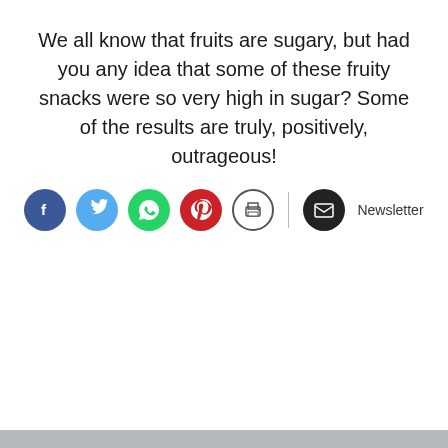We all know that fruits are sugary, but had you any idea that some of these fruity snacks were so very high in sugar? Some of the results are truly, positively, outrageous!
[Figure (infographic): Row of social sharing buttons: Facebook (blue circle with f), Twitter (light blue circle with bird), WhatsApp (green circle with phone), Pinterest (red circle with P), Print (white circle with printer icon), divider line, Newsletter (black circle with envelope) and Newsletter label]
[Figure (photo): Photo of Sun-Maid Raisins red boxes with yellow Sun-Maid girl logo visible, on a grey background. Two boxes visible, one centered and one partially cut off on the right.]